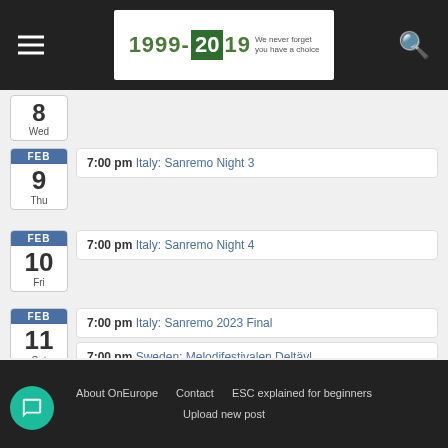OnEurope 1999-2019 We never forget you have a choice
8 Wed
FEB 9 Thu — 7:00 pm Italy: Sanremo Night 3
FEB 10 Fri — 7:00 pm Italy: Sanremo Night 4
FEB 11 Sat — 7:00 pm Italy: Sanremo 2023 Final; 7:00 pm Sweden: Melodifestivalen Deltävl...
View Calendar →
About OnEurope  Contact  ESC explained for beginners  Upload new post